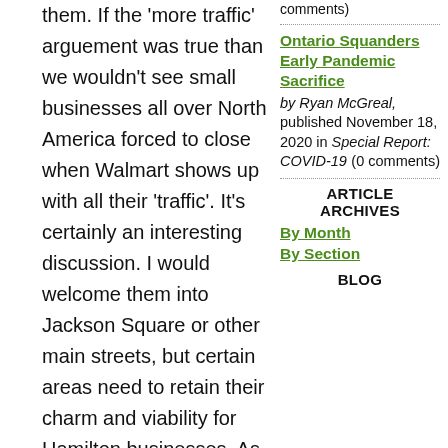them. If the 'more traffic' arguement was true than we wouldn't see small businesses all over North America forced to close when Walmart shows up with all their 'traffic'. It's certainly an interesting discussion. I would welcome them into Jackson Square or other main streets, but certain areas need to retain their charm and viability for Hamilton businesses. As for Pete and Marty's I was VERY disappointed to go by there today and see that they've ripped up the beautiful floor. Don't know if you ever saw it, but it had wonderful tile mosaics. I'm not sure if they've saved it for reuse or tossed it, hopefully they'll bring it back out.
Ontario Squanders Early Pandemic Sacrifice
by Ryan McGreal, published November 18, 2020 in Special Report: COVID-19 (0 comments)
ARTICLE ARCHIVES
By Month
By Section
BLOG